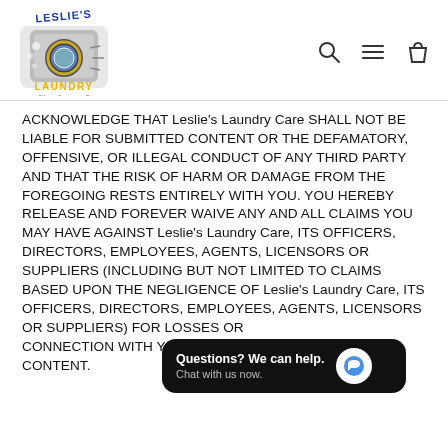[Figure (logo): Leslie's Laundry logo with washing machine, blue and yellow text, tagline 'You call, we come!']
ACKNOWLEDGE THAT Leslie's Laundry Care SHALL NOT BE LIABLE FOR SUBMITTED CONTENT OR THE DEFAMATORY, OFFENSIVE, OR ILLEGAL CONDUCT OF ANY THIRD PARTY AND THAT THE RISK OF HARM OR DAMAGE FROM THE FOREGOING RESTS ENTIRELY WITH YOU. YOU HEREBY RELEASE AND FOREVER WAIVE ANY AND ALL CLAIMS YOU MAY HAVE AGAINST Leslie's Laundry Care, ITS OFFICERS, DIRECTORS, EMPLOYEES, AGENTS, LICENSORS OR SUPPLIERS (INCLUDING BUT NOT LIMITED TO CLAIMS BASED UPON THE NEGLIGENCE OF Leslie's Laundry Care, ITS OFFICERS, DIRECTORS, EMPLOYEES, AGENTS, LICENSORS OR SUPPLIERS) FOR LOSSES OR [overlay] CONNECTION WITH YOUR USE [overlay] OR THE CONTENT.
[Figure (screenshot): Chat widget overlay: 'Questions? We can help. Chat with us now.' with blue speech bubble icon on black background]